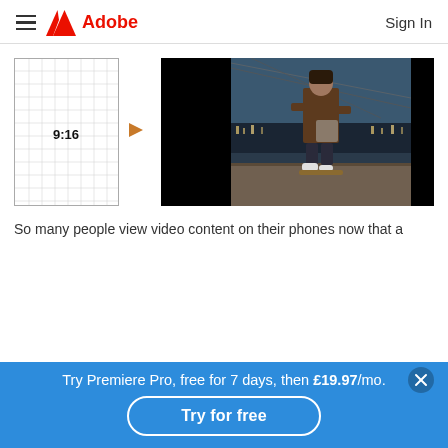☰  Adobe  Sign In
[Figure (screenshot): Diagram showing a 9:16 grid thumbnail on the left with an orange right-pointing arrow, and a video preview on the right showing a person skateboarding in front of a bridge at night, displayed in a wide landscape format with black bars on the sides (letterboxed).]
So many people view video content on their phones now that a
Try Premiere Pro, free for 7 days, then £19.97/mo.
Try for free